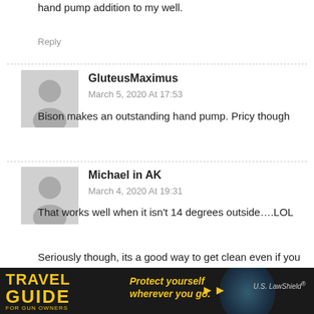hand pump addition to my well.
Reply
GluteusMaximus
March 5, 2020 At 17:53
Bison makes an outstanding hand pump. Pricy though
Michael in AK
March 4, 2020 At 19:31
That works well when it isn't 14 degrees outside….LOL
Seriously though, its a good way to get clean even if you have to haul water.
[Figure (screenshot): Travel Guide for Gun Owners advertisement banner with text 'Protect yourself wherever you go.' and US LawShield logo]